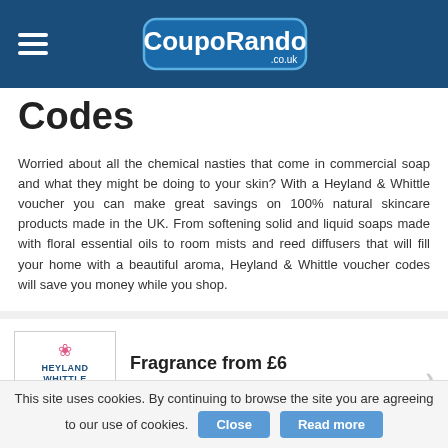CoupoRando.co.uk
Codes
Worried about all the chemical nasties that come in commercial soap and what they might be doing to your skin? With a Heyland & Whittle voucher you can make great savings on 100% natural skincare products made in the UK. From softening solid and liquid soaps made with floral essential oils to room mists and reed diffusers that will fill your home with a beautiful aroma, Heyland & Whittle voucher codes will save you money while you shop.
Fragrance from £6
Verified: 28.09.2018
This site uses cookies. By continuing to browse the site you are agreeing to our use of cookies. Close Read more